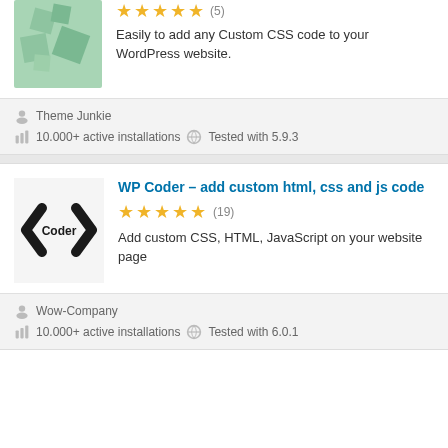[Figure (illustration): Green geometric/diamond plugin icon for first plugin (partial card at top)]
Easily to add any Custom CSS code to your WordPress website.
Theme Junkie
10.000+ active installations   Tested with 5.9.3
WP Coder – add custom html, css and js code
[Figure (logo): WP Coder plugin logo with angle bracket arrows and Coder text]
Add custom CSS, HTML, JavaScript on your website page
Wow-Company
10.000+ active installations   Tested with 6.0.1